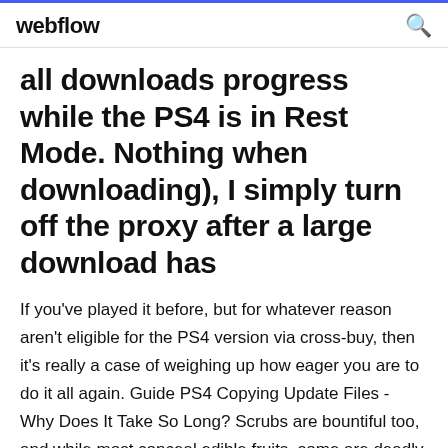webflow
all downloads progress while the PS4 is in Rest Mode. Nothing when downloading), I simply turn off the proxy after a large download has
If you've played it before, but for whatever reason aren't eligible for the PS4 version via cross-buy, then it's really a case of weighing up how eager you are to do it all again. Guide PS4 Copying Update Files - Why Does It Take So Long? Scrubs are bountiful too, and while most conceal edible fruits, some are deadly and must be avoided. Luckily, the Survival Guide